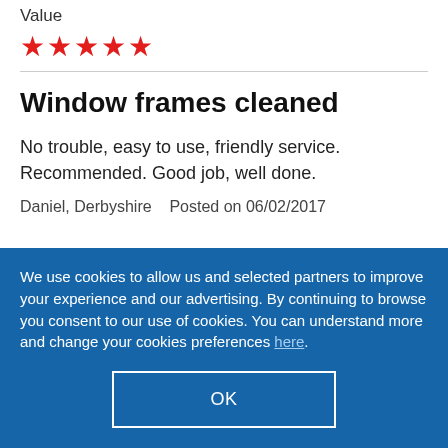Value
[Figure (other): Five red star rating icons]
Window frames cleaned
No trouble, easy to use, friendly service. Recommended. Good job, well done.
Daniel, Derbyshire   Posted on 06/02/2017
We use cookies to allow us and selected partners to improve your experience and our advertising. By continuing to browse you consent to our use of cookies. You can understand more and change your cookies preferences here.
OK